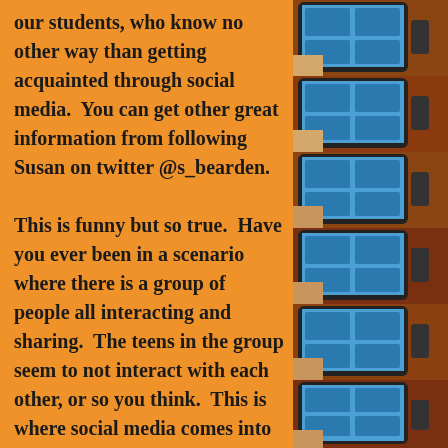our students, who know no other way than getting acquainted through social media.  You can get other great information from following Susan on twitter @s_bearden.

This is funny but so true.  Have you ever been in a scenario where there is a group of people all interacting and sharing.  The teens in the group seem to not interact with each other, or so you think.  This is where social media comes into play.  All it takes is a small conversation consisting of, “are you on instagram, and what’s your snapchat name,” and its all done.  Your teens/young adults get socia
[Figure (photo): A vertical strip of repeating photos showing tablet computers (iPads/tablets) with blue screens, held by hands, stacked in a row against a red brick background]